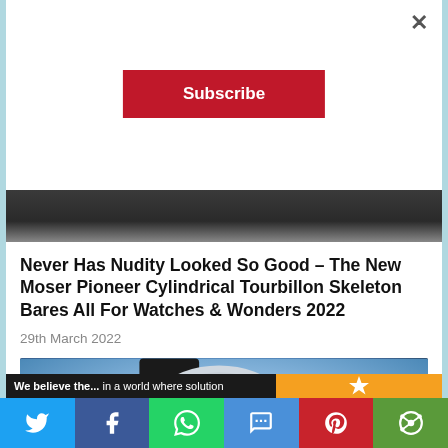×
Subscribe
[Figure (photo): Cropped top portion of a dark article header image showing what appears to be a watch or dark fabric/suit]
Never Has Nudity Looked So Good – The New Moser Pioneer Cylindrical Tourbillon Skeleton Bares All For Watches & Wonders 2022
29th March 2022
[Figure (photo): Close-up photograph of a luxury wristwatch with a blue radiant sunray dial, silver case and hands, on a dark leather strap, with a blue blurred background]
We believe the... in a world whereolution
Twitter share button
Facebook share button
WhatsApp share button
SMS share button
Pinterest share button
More share options button